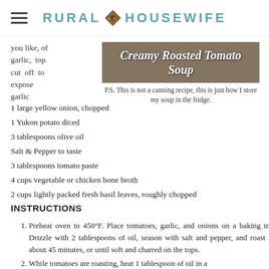RURAL ◆ HOUSEWIFE
[Figure (photo): Creamy Roasted Tomato Soup title on a rustic wooden background image]
P.S. This is not a canning recipe, this is just how I store my soup in the fridge.
you like, of garlic, top cut off to expose garlic
1 large yellow onion, chopped
1 Yukon potato diced
3 tablespoons olive oil
Salt & Pepper to taste
3 tablespoons tomato paste
4 cups vegetable or chicken bone broth
2 cups lightly packed fresh basil leaves, roughly chopped
INSTRUCTIONS
Preheat oven to 450°F. Place tomatoes, garlic, and onions on a baking tray. Drizzle with 2 tablespoons of oil, season with salt and pepper, and roast for about 45 minutes, or until soft and charred on the tops.
While tomatoes are roasting, heat 1 tablespoon of oil in a...